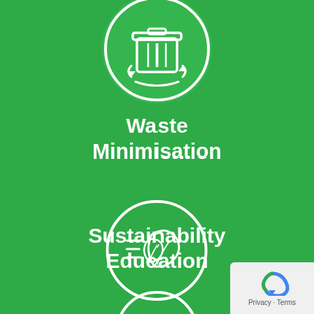[Figure (illustration): White circular icon with a recycling bin and recycling arrows symbol on green background, partially cropped at top]
Waste Minimisation
[Figure (illustration): White circular icon with two leaves and horizontal lines (sustainability/eco symbol) on green background]
Sustainability Education
[Figure (illustration): Partial white circular icon visible at the very bottom of the page on green background]